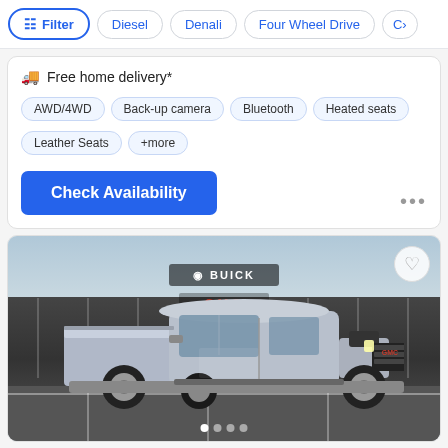Filter
Diesel
Denali
Four Wheel Drive
Free home delivery*
AWD/4WD
Back-up camera
Bluetooth
Heated seats
Leather Seats
+more
Check Availability
[Figure (photo): GMC Sierra heavy-duty pickup truck photographed in front of a Buick GMC dealership. The truck is silver/grey colored, parked in a parking lot with white parking space lines visible. The dealership building facade shows 'BUICK' and 'GMC' signage.]